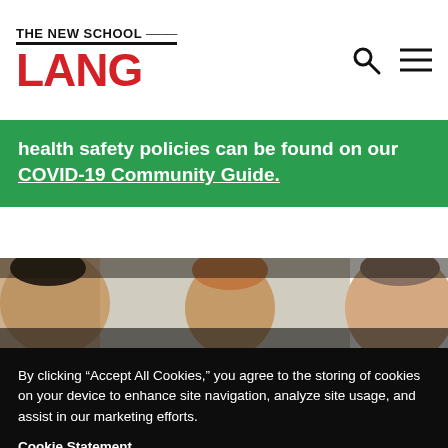THE NEW SCHOOL / LANG
health safety policies can be found on our COVID-19 Community Guide.
[Figure (photo): Photo of students in a classroom, multiple faces visible, one student in foreground on left side looking sideways, others in background]
By clicking “Accept All Cookies,” you agree to the storing of cookies on your device to enhance site navigation, analyze site usage, and assist in our marketing efforts.
Cookie Statement
Customize Settings
Accept All Cookies